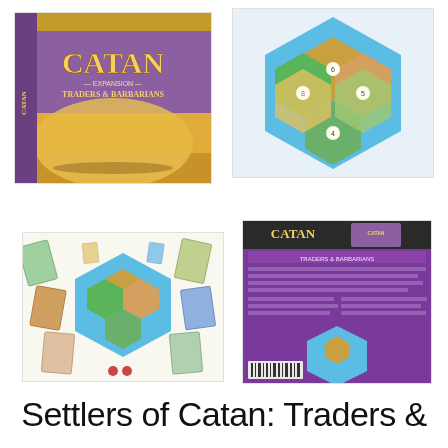[Figure (photo): Catan Expansion: Traders & Barbarians board game box, purple and gold design]
[Figure (photo): Catan game board top view showing hexagonal tiles in blue border]
[Figure (photo): Catan game components spread out including board, cards, and pieces]
[Figure (photo): Back of Catan Traders & Barbarians expansion box, purple background]
Settlers of Catan: Traders &